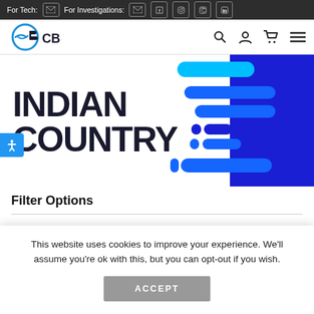For Tech: [email icon] For Investigations: [email icon] [facebook] [instagram] [twitter] [linkedin]
[Figure (logo): Indian Country Today logo with stylized CB letters and speed lines]
[Figure (infographic): Blue and dark blue speed lines / streaks graphic on right side of hero section]
INDIAN COUNTRY
Filter Options
This website uses cookies to improve your experience. We'll assume you're ok with this, but you can opt-out if you wish.
ACCEPT